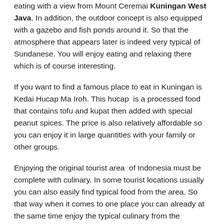eating with a view from Mount Ceremai Kuningan West Java. In addition, the outdoor concept is also equipped with a gazebo and fish ponds around it. So that the atmosphere that appears later is indeed very typical of Sundanese. You will enjoy eating and relaxing there which is of course interesting.
If you want to find a famous place to eat in Kuningan is Kedai Hucap Ma Iroh. This hucap is a processed food that contains tofu and kupat then added with special peanut spices. The price is also relatively affordable so you can enjoy it in large quantities with your family or other groups.
Enjoying the original tourist area of Indonesia must be complete with culinary. In some tourist locations usually you can also easily find typical food from the area. So that way when it comes to one place you can already at the same time enjoy the typical culinary from the Kuningan area of West Java.
Uniqueness of Interesting Brass Area
Each region certainly has its own uniqueness, including Kuningan in West Java which holds interesting facts behind its natural beauty.